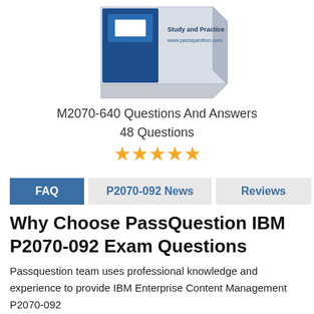[Figure (photo): Product box image showing a study guide with 'Study and Practice' text and www.passquestion.com URL, partially visible at top of page]
M2070-640 Questions And Answers
48 Questions
[Figure (other): Five orange star rating icons]
FAQ  P2070-092 News  Reviews
Why Choose PassQuestion IBM P2070-092 Exam Questions
Passquestion team uses professional knowledge and experience to provide IBM Enterprise Content Management P2070-092